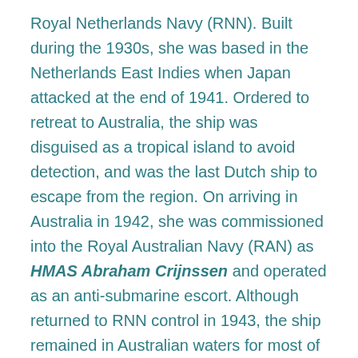Royal Netherlands Navy (RNN). Built during the 1930s, she was based in the Netherlands East Indies when Japan attacked at the end of 1941. Ordered to retreat to Australia, the ship was disguised as a tropical island to avoid detection, and was the last Dutch ship to escape from the region. On arriving in Australia in 1942, she was commissioned into the Royal Australian Navy (RAN) as HMAS Abraham Crijnssen and operated as an anti-submarine escort. Although returned to RNN control in 1943, the ship remained in Australian waters for most of World War II. After the war, Abraham Crijnssen operated on anti-revolution patrols in the East Indies, before returning to the Netherlands and being converted into a boom defence ship in 1956. Removed from service in 1960, the vessel was donated to the Netherlands Sea Cadet Corps for training purposes. In 1995, Abraham Crijnssen was acquired by the Dutch Navy Museum for preservation as a museum ship.